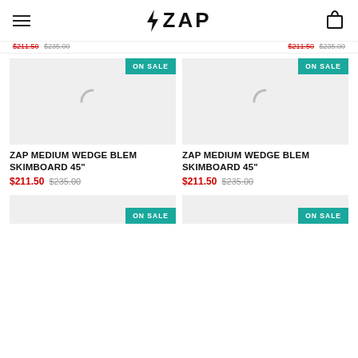ZAP
$211.50  $235.00   $211.50  $235.00
[Figure (screenshot): Product card with ON SALE badge, loading spinner placeholder image for ZAP MEDIUM WEDGE BLEM SKIMBOARD 45"]
ZAP MEDIUM WEDGE BLEM SKIMBOARD 45"
$211.50  $235.00
[Figure (screenshot): Product card with ON SALE badge, loading spinner placeholder image for ZAP MEDIUM WEDGE BLEM SKIMBOARD 45"]
ZAP MEDIUM WEDGE BLEM SKIMBOARD 45"
$211.50  $235.00
[Figure (screenshot): Partial product card with ON SALE badge at bottom of page]
[Figure (screenshot): Partial product card with ON SALE badge at bottom of page]